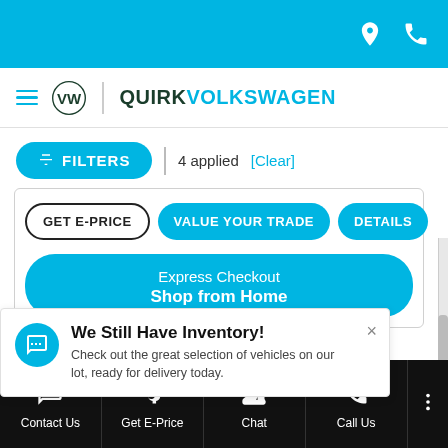Quirk Volkswagen mobile website header with location and phone icons
[Figure (screenshot): Quirk Volkswagen mobile app navigation bar with hamburger menu, VW logo, and brand name]
FILTERS | 4 applied [Clear]
[Figure (screenshot): Vehicle listing card with GET E-PRICE, VALUE YOUR TRADE, DETAILS buttons and Express Checkout / Shop from Home button]
We Still Have Inventory! Check out the great selection of vehicles on our lot, ready for delivery today.
Contact Us | Get E-Price | Chat | Call Us | More